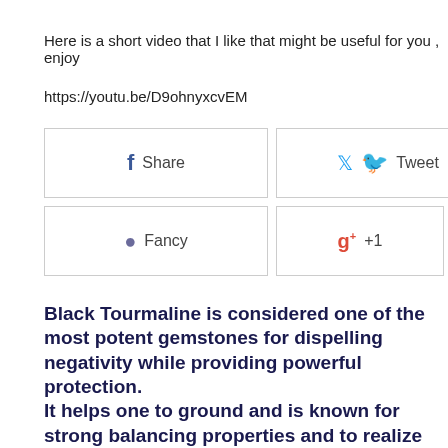Here is a short video that I like that might be useful for you , enjoy
https://youtu.be/D9ohnyxcvEM
[Figure (other): Social sharing buttons: Share (Facebook), Tweet (Twitter), Pin it (Pinterest), Fancy, +1 (Google+)]
Black Tourmaline is considered one of the most potent gemstones for dispelling negativity while providing powerful protection. It helps one to ground and is known for  strong balancing properties and to realize physical healing